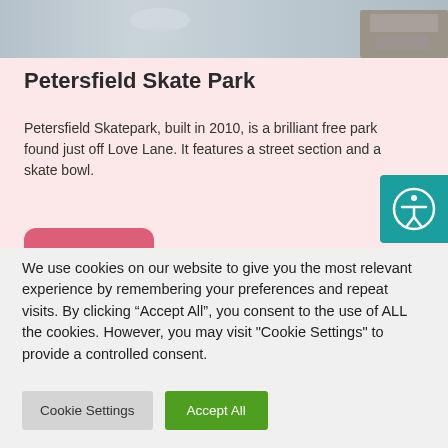[Figure (photo): Top portion of a photo showing a skate park surface, partially cropped at the top of the page]
Petersfield Skate Park
Petersfield Skatepark, built in 2010, is a brilliant free park found just off Love Lane. It features a street section and a skate bowl.
[Figure (other): Teal accessibility icon button (person with outstretched arms in a circle)]
We use cookies on our website to give you the most relevant experience by remembering your preferences and repeat visits. By clicking “Accept All”, you consent to the use of ALL the cookies. However, you may visit "Cookie Settings" to provide a controlled consent.
Cookie Settings   Accept All